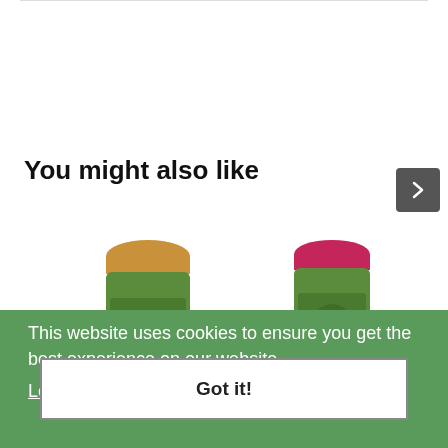You might also like
[Figure (photo): Soda Deodorant Paper Tube Indian Mandarine 60g product image - green cylindrical tube with gold cap]
[Figure (photo): Soda Deodorant Paper Tube Pink Grapefruit 60g product image - green cylindrical tube with pink cap]
This website uses cookies to ensure you get the best experience on our website.
Learn More
Got it!
Soda Deodorant Paper Tube Indian Mandarine 60g
Soda Deodorant Paper Tube Pink Grapefruit 60g